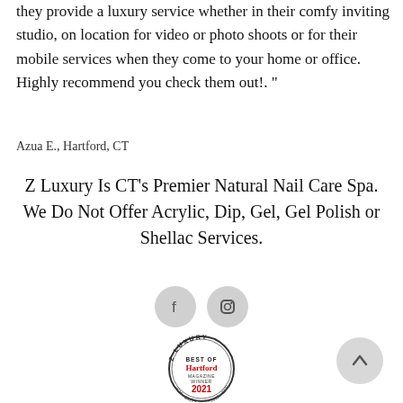They provide a luxury service whether in their comfy inviting studio, on location for video or photo shoots or for their mobile services when they come to your home or office.  Highly recommend you check them out!. "
Azua E., Hartford, CT
Z Luxury Is CT's Premier Natural Nail Care Spa.
We Do Not Offer Acrylic, Dip, Gel, Gel Polish or Shellac Services.
[Figure (illustration): Social media icons: Facebook (f) and Instagram (camera) in gray circles]
[Figure (logo): Z Luxury Best of Hartford Magazine Winner 2021 badge with years 2016-2020 around the border]